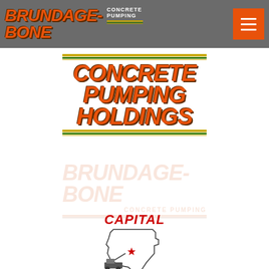[Figure (logo): Brundage-Bone Concrete Pumping logo in header bar with hamburger menu button]
[Figure (logo): Concrete Pumping Holdings logo with orange bold italic text and horizontal stripe lines]
[Figure (logo): Brundage-Bone Concrete Pumping watermark logo (faded/semi-transparent)]
[Figure (logo): Capital Concrete Pumping logo with red italic text and Texas state outline illustration]